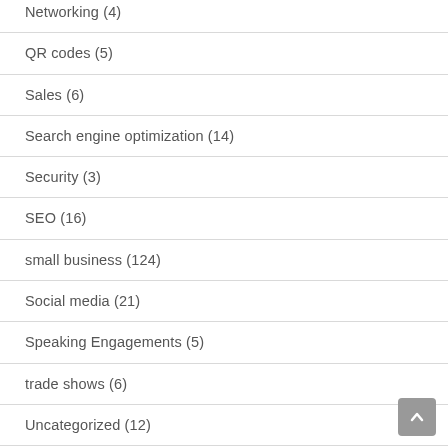Networking (4)
QR codes (5)
Sales (6)
Search engine optimization (14)
Security (3)
SEO (16)
small business (124)
Social media (21)
Speaking Engagements (5)
trade shows (6)
Uncategorized (12)
web issues (74)
WordPress (2)